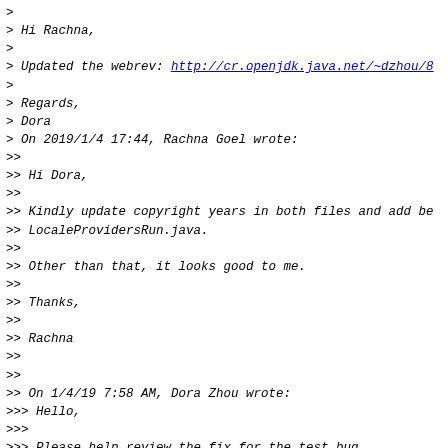> 
> Hi Rachna,
>
> Updated the webrev: http://cr.openjdk.java.net/~dzhou/8
>
> Regards,
> Dora
> On 2019/1/4 17:44, Rachna Goel wrote:
>>
>> Hi Dora,
>>
>> Kindly update copyright years in both files and add be
>> LocaleProvidersRun.java.
>>
>> Other than that, it looks good to me.
>>
>> Thanks,
>>
>> Rachna
>>
>>
>> On 1/4/19 7:58 AM, Dora Zhou wrote:
>>> Hello,
>>>
>>> Please help review the fix for the test bug
>>> java/util/Locale/LocaleProvidersRun.java failed on de
>>> locale.
>>>
>>> Bug: https://bugs.openjdk.java.net/browse/JDK-8215913
>>>
>>>